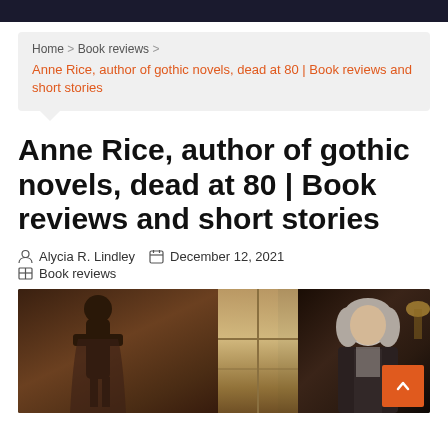Home > Book reviews > Anne Rice, author of gothic novels, dead at 80 | Book reviews and short stories
Anne Rice, author of gothic novels, dead at 80 | Book reviews and short stories
Alycia R. Lindley   December 12, 2021
Book reviews
[Figure (photo): Photo showing gothic statues/artwork on the left and an elderly woman with short grey hair on the right, in a dark atmospheric setting]